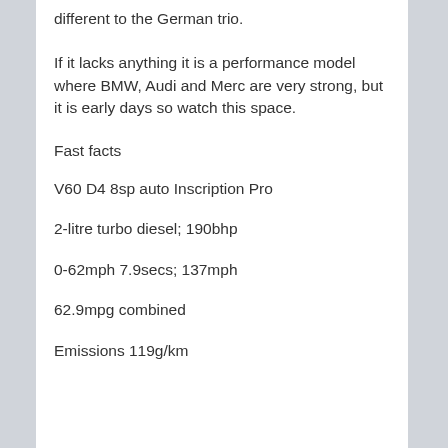different to the German trio.
If it lacks anything it is a performance model where BMW, Audi and Merc are very strong, but it is early days so watch this space.
Fast facts
V60 D4 8sp auto Inscription Pro
2-litre turbo diesel; 190bhp
0-62mph 7.9secs; 137mph
62.9mpg combined
Emissions 119g/km